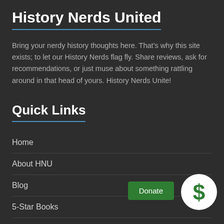History Nerds United
Bring your nerdy history thoughts here. That’s why this site exists; to let our History Nerds flag fly. Share reviews, ask for recommendations, or just muse about something rattling around in that head of yours. History Nerds Unite!
Quick Links
Home
About HNU
Blog
5-Star Books
Podcast Episodes